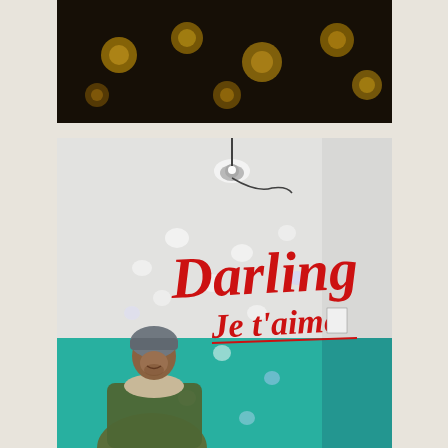[Figure (photo): Dark background with several golden/yellow circular bokeh lights scattered across a dark surface, viewed from above]
[Figure (photo): Interior stairwell or corridor with white walls and teal/turquoise lower half. Red script text reads 'Darling Je t'aime' on the white wall. A spotlight mounted on the ceiling creates scattered light spots on the walls. A man wearing a grey beanie hat and green jacket stands at the bottom, looking downward.]